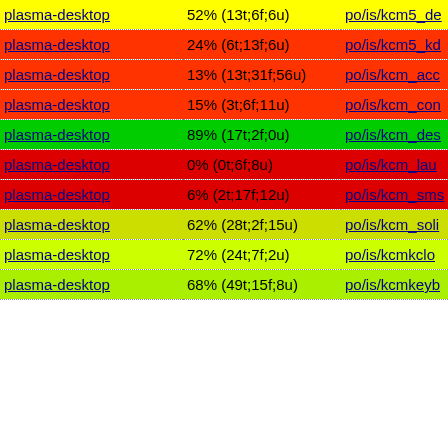| Component | Translation % | Path |
| --- | --- | --- |
| plasma-desktop | 52% (13t;6f;6u) | po/is/kcm5_de |
| plasma-desktop | 24% (6t;13f;6u) | po/is/kcm5_kd |
| plasma-desktop | 13% (13t;31f;56u) | po/is/kcm_acc |
| plasma-desktop | 15% (3t;6f;11u) | po/is/kcm_con |
| plasma-desktop | 89% (17t;2f;0u) | po/is/kcm_des |
| plasma-desktop | 0% (0t;6f;8u) | po/is/kcm_lau |
| plasma-desktop | 6% (2t;17f;12u) | po/is/kcm_sms |
| plasma-desktop | 62% (28t;2f;15u) | po/is/kcm_soli |
| plasma-desktop | 72% (24t;7f;2u) | po/is/kcmkclo |
| plasma-desktop | 68% (49t;15f;8u) | po/is/kcmkeyb |